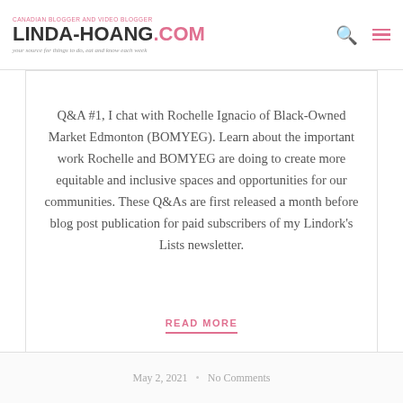CANADIAN BLOGGER AND VIDEO BLOGGER — LINDA-HOANG.COM — your source for things to do, eat and know each week
Q&A #1, I chat with Rochelle Ignacio of Black-Owned Market Edmonton (BOMYEG). Learn about the important work Rochelle and BOMYEG are doing to create more equitable and inclusive spaces and opportunities for our communities. These Q&As are first released a month before blog post publication for paid subscribers of my Lindork's Lists newsletter.
READ MORE
May 2, 2021 • No Comments